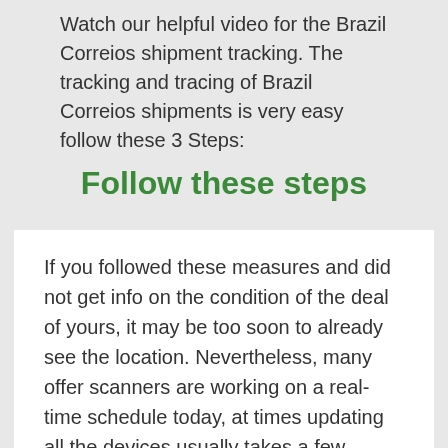Watch our helpful video for the Brazil Correios shipment tracking. The tracking and tracing of Brazil Correios shipments is very easy follow these 3 Steps:
Follow these steps
If you followed these measures and did not get info on the condition of the deal of yours, it may be too soon to already see the location. Nevertheless, many offer scanners are working on a real-time schedule today, at times updating all the devices usually takes a few hours. Simply check out once more the next day, in cases like this. For more information on the functioning of online parcel...